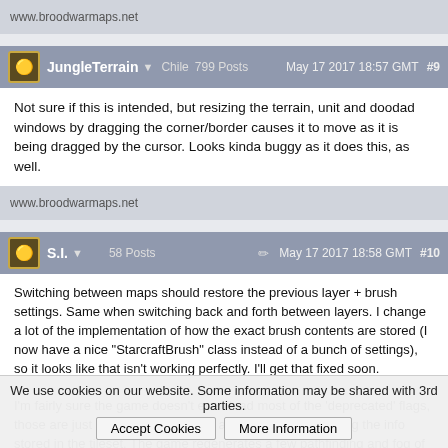www.broodwarmaps.net
JungleTerrain ▼ Chile 799 Posts  May 17 2017 18:57 GMT  #9
Not sure if this is intended, but resizing the terrain, unit and doodad windows by dragging the corner/border causes it to move as it is being dragged by the cursor. Looks kinda buggy as it does this, as well.
www.broodwarmaps.net
S.I. ▼  58 Posts  ✏  May 17 2017 18:58 GMT  #10
Switching between maps should restore the previous layer + brush settings. Same when switching back and forth between layers. I change a lot of the implementation of how the exact brush contents are stored (I now have a nice "StarcraftBrush" class instead of a bunch of settings), so it looks like that isn't working perfectly. I'll get that fixed soon.

I'm fairly sure the game doesn't even load most of the 'deprecated' flags, those are just listed for people who are interested in viewing the info stored in the tileset. The game regenerates a few pathfinding and fog of
We use cookies on our website. Some information may be shared with 3rd parties.  Accept Cookies  More Information